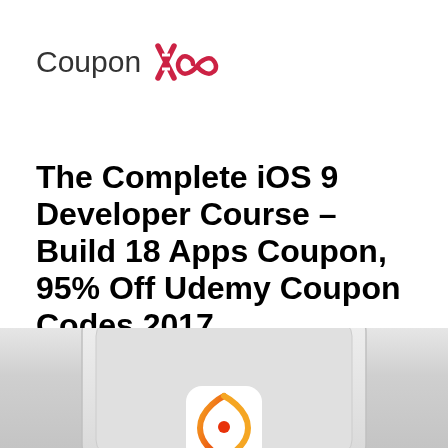[Figure (logo): CouponXoo logo with stylized X in red and infinity symbol]
The Complete iOS 9 Developer Course – Build 18 Apps Coupon, 95% Off Udemy Coupon Codes 2017
[Figure (screenshot): iOS device/app screenshot showing a phone outline with an iOS app icon featuring orange and red circular design on grey background]